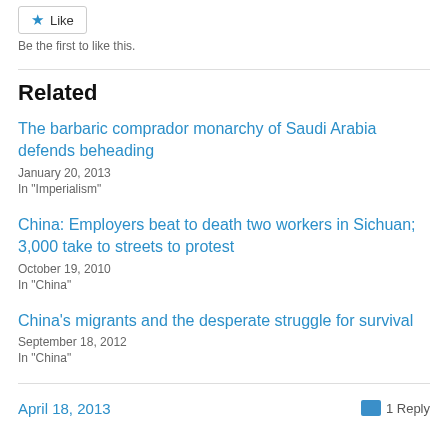[Figure (other): Like button with blue star icon]
Be the first to like this.
Related
The barbaric comprador monarchy of Saudi Arabia defends beheading
January 20, 2013
In "Imperialism"
China: Employers beat to death two workers in Sichuan; 3,000 take to streets to protest
October 19, 2010
In "China"
China's migrants and the desperate struggle for survival
September 18, 2012
In "China"
April 18, 2013
1 Reply